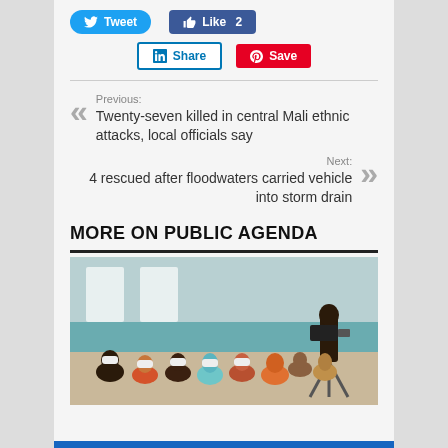Tweet
Like 2
Share
Save
Previous: Twenty-seven killed in central Mali ethnic attacks, local officials say
Next: 4 rescued after floodwaters carried vehicle into storm drain
MORE ON PUBLIC AGENDA
[Figure (photo): People wearing face masks seated in a room attending a meeting or event, with a cameraman filming on the right side.]